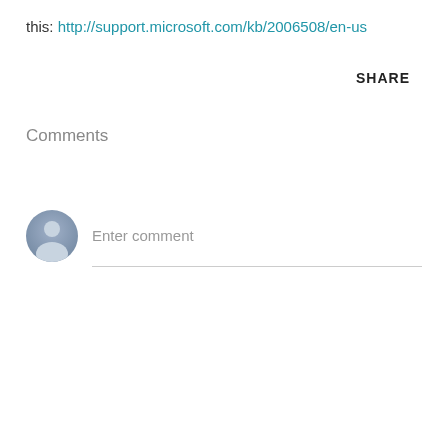this: http://support.microsoft.com/kb/2006508/en-us
SHARE
Comments
[Figure (illustration): Generic user avatar icon — circular blue-grey gradient silhouette of a person]
Enter comment